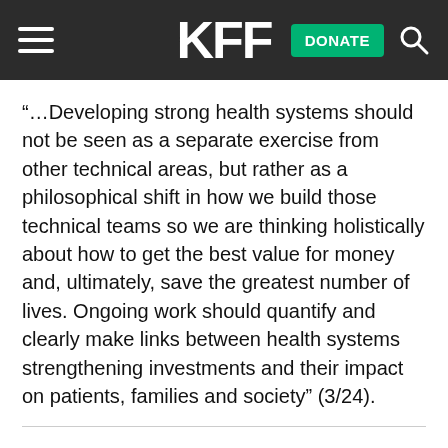KFF
“…Developing strong health systems should not be seen as a separate exercise from other technical areas, but rather as a philosophical shift in how we build those technical teams so we are thinking holistically about how to get the best value for money and, ultimately, save the greatest number of lives. Ongoing work should quantify and clearly make links between health systems strengthening investments and their impact on patients, families and society” (3/24).
The KFF Daily Global Health Policy Report summarized news and information on global